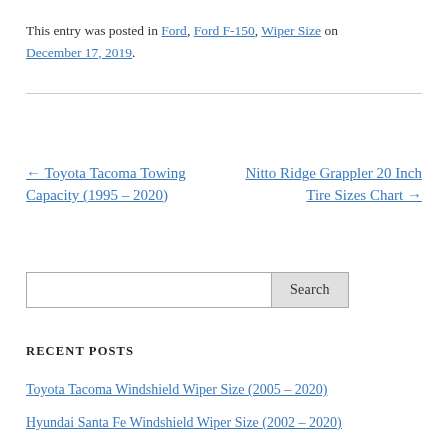This entry was posted in Ford, Ford F-150, Wiper Size on December 17, 2019.
← Toyota Tacoma Towing Capacity (1995 – 2020)
Nitto Ridge Grappler 20 Inch Tire Sizes Chart →
Search
RECENT POSTS
Toyota Tacoma Windshield Wiper Size (2005 – 2020)
Hyundai Santa Fe Windshield Wiper Size (2002 – 2020)